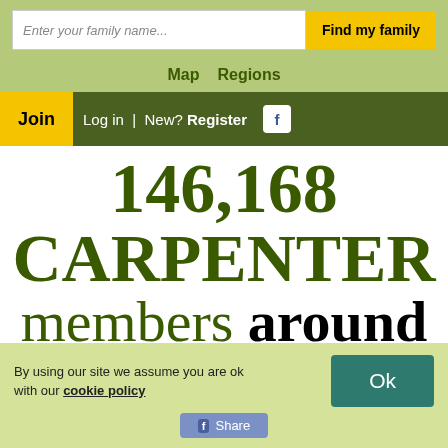Enter your family name...
Find my family
Map   Regions
Join  Log in  | New? Register  [facebook]
146,168 CARPENTER members around the world
By using our site we assume you are ok with our cookie policy
Ok
Share